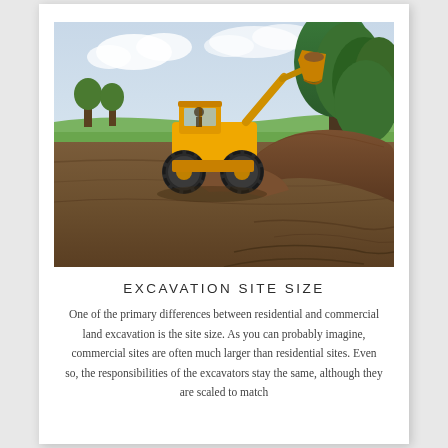[Figure (photo): Yellow wheel loader / front-end loader working on an excavation site with a raised bucket full of dirt. The machine is on barren brown earth with green trees and a flat agricultural landscape in the background under a partly cloudy sky.]
EXCAVATION SITE SIZE
One of the primary differences between residential and commercial land excavation is the site size. As you can probably imagine, commercial sites are often much larger than residential sites. Even so, the responsibilities of the excavators stay the same, although they are scaled to match the size of the site. To accommodate a larger site...